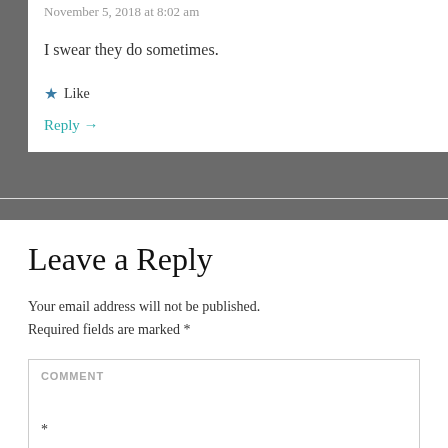November 5, 2018 at 8:02 am
I swear they do sometimes.
★ Like
Reply →
Leave a Reply
Your email address will not be published. Required fields are marked *
COMMENT *